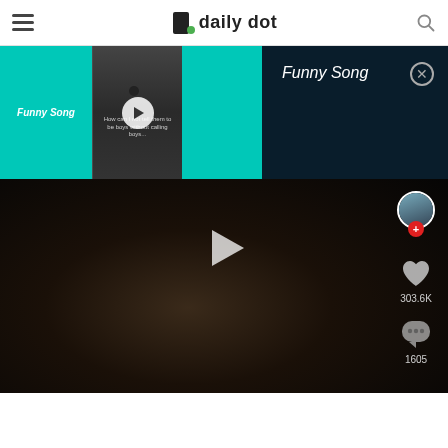daily dot
[Figure (screenshot): TikTok playlist bar with teal/cyan background showing 'Funny Song' label on left, a dark video thumbnail with play button in center, and teal area on right]
[Figure (screenshot): Dark popup overlay on right side of playlist bar showing 'Funny Song' title in white italic text with a close (X) circle button]
[Figure (screenshot): TikTok video interface showing dark close-up face video, play button overlay, right sidebar with user avatar with red plus button, heart icon with 303.6K likes, comment bubble icon with 1605 comments]